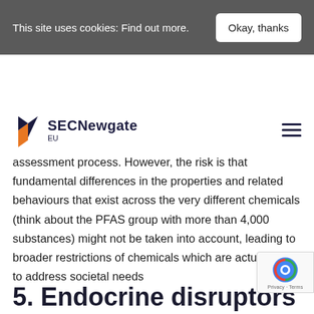This site uses cookies: Find out more.  Okay, thanks
[Figure (logo): SECNewgate EU logo with orange and dark blue shield icon]
assessment process. However, the risk is that fundamental differences in the properties and related behaviours that exist across the very different chemicals (think about the PFAS group with more than 4,000 substances) might not be taken into account, leading to broader restrictions of chemicals which are actually key to address societal needs
5. Endocrine disruptors